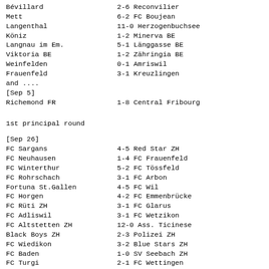Bévillard   2-6 Reconvilier
Mett   6-2 FC Boujean
Langenthal   11-0 Herzogenbuchsee
Köniz   1-2 Minerva BE
Langnau im Em.   5-1 Länggasse BE
Viktoria BE   1-2 Zähringia BE
Weinfelden   0-1 Amriswil
Frauenfeld   3-1 Kreuzlingen
and ....
[Sep 5]
Richemond FR   1-8 Central Fribourg
1st principal round
[Sep 26]
FC Sargans   4-5 Red Star ZH
FC Neuhausen   1-4 FC Frauenfeld
FC Winterthur   5-2 FC Tössfeld
FC Rohrschach   3-1 FC Arbon
Fortuna St.Gallen   4-5 FC Wil
FC Horgen   4-2 FC Emmenbrücke
FC Rüti ZH   3-1 FC Glarus
FC Adliswil   3-1 FC Wetzikon
FC Altstetten ZH   12-0 Ass. Ticinese
Black Boys ZH   2-3 Polizei ZH
FC Wiedikon   3-2 Blue Stars ZH
FC Baden   1-0 SV Seebach ZH
FC Turgi   2-1 FC Wettingen
Sporting Aarau   0-4 FC Gränichen